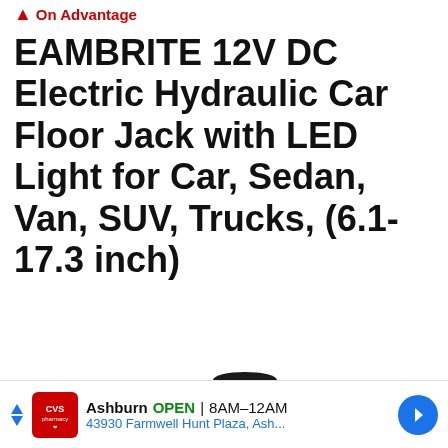On Advantage
EAMBRITE 12V DC Electric Hydraulic Car Floor Jack with LED Light for Car, Sedan, Van, SUV, Trucks, (6.1-17.3 inch)
[Figure (photo): Black hydraulic car floor jack component, vertical cylindrical screw/bolt shape with a flat top cap and threaded body]
Ashburn OPEN | 8AM–12AM 43930 Farmwell Hunt Plaza, Ash...